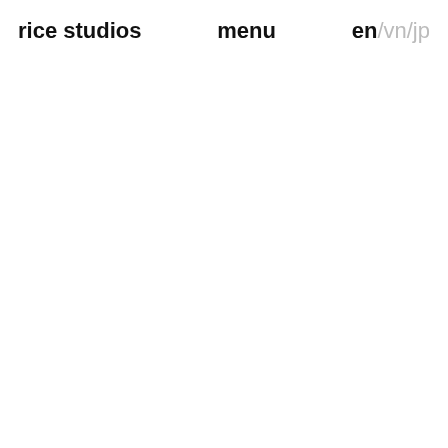rice studios   menu   en/vn/jp